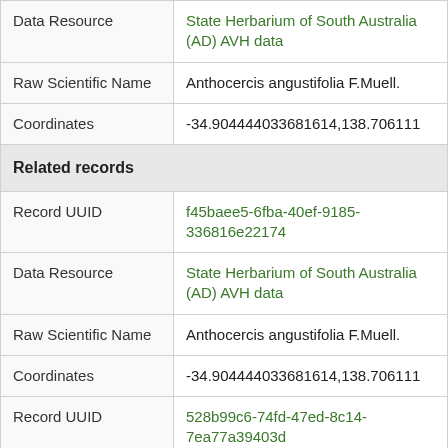| Field | Value |
| --- | --- |
| Data Resource | State Herbarium of South Australia (AD) AVH data |
| Raw Scientific Name | Anthocercis angustifolia F.Muell. |
| Coordinates | -34.904444033681614,138.706111 |
| Related records |  |
| Record UUID | f45baee5-6fba-40ef-9185-336816e22174 |
| Data Resource | State Herbarium of South Australia (AD) AVH data |
| Raw Scientific Name | Anthocercis angustifolia F.Muell. |
| Coordinates | -34.904444033681614,138.706111 |
| Record UUID | 528b99c6-74fd-47ed-8c14-7ea77a39403d |
| Data Resource | State Herbarium of South Australia (AD) AVH data |
| Raw Scientific Name | Anthocercis angustifolia F.Muell. |